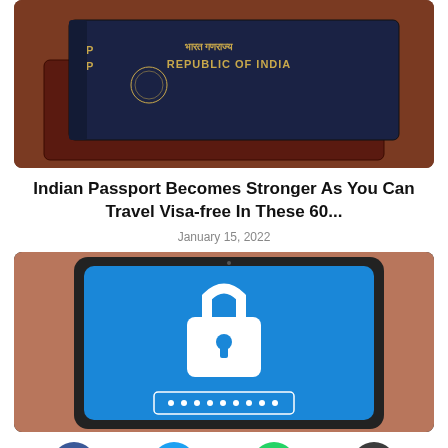[Figure (photo): Two Indian passports on a table. The top passport shows 'भारत गणराज्य REPUBLIC OF INDIA' in gold text on a dark blue cover. The bottom passport is dark maroon/brown.]
Indian Passport Becomes Stronger As You Can Travel Visa-free In These 60...
January 15, 2022
[Figure (photo): A laptop or tablet with a bright blue screen showing a white padlock icon and a password input field with dots, held by a person's hand.]
[Figure (other): Social media sharing icons row: Facebook (blue circle, f), Twitter (light blue circle, bird), WhatsApp (green circle, phone), Reddit (dark circle, alien logo)]